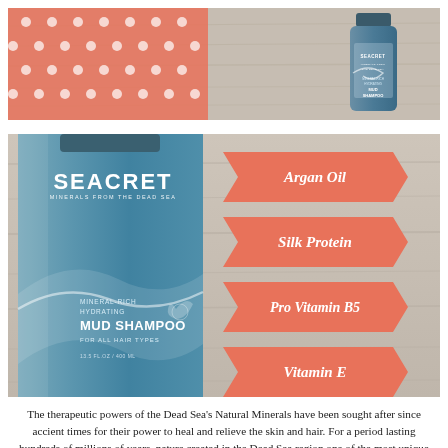[Figure (photo): Top strip photo showing a coral/salmon polka-dot fabric and a small Seacret Mud Shampoo bottle on a wooden surface background.]
[Figure (photo): Main product photo of Seacret Mineral-Rich Hydrating Mud Shampoo bottle (blue-grey, 13.5 fl oz / 400 ml) on a wooden background, with four coral ribbon/banner labels on the right side listing: Argan Oil, Silk Protein, Pro Vitamin B5, Vitamin E.]
The therapeutic powers of the Dead Sea's Natural Minerals have been sought after since accient times for their power to heal and relieve the skin and hair. For a period lasting hundreds of millions of years, nature created in the Dead Sea region one of the most unique reservoirs of minerals on earth. Sounds pretty amazing right! The Dead Sea contains 26 essential minerals including...Sodium, Magnesium,